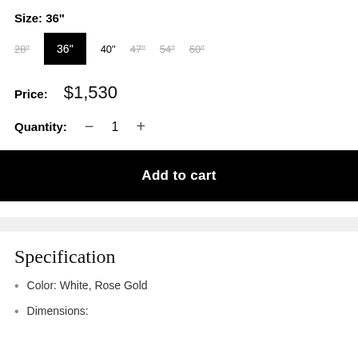Size: 36"
28" 36" 40" 47" 54" 60"
Price: $1,530
Quantity: − 1 +
Add to cart
Specification
Color: White, Rose Gold
Dimensions: